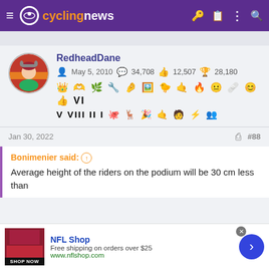cyclingnews
RedheadDane
May 5, 2010  34,708  12,507  28,180
Jan 30, 2022  #88
Bonimenier said: ↑
Average height of the riders on the podium will be 30 cm less than
NFL Shop
Free shipping on orders over $25
www.nflshop.com
SHOP NOW